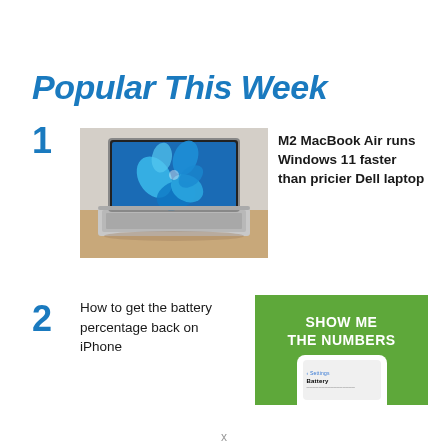Popular This Week
1
[Figure (photo): Laptop computer (MacBook Air) with Windows 11 displayed on screen, sitting on a wooden surface]
M2 MacBook Air runs Windows 11 faster than pricier Dell laptop
2
How to get the battery percentage back on iPhone
[Figure (screenshot): Green promotional banner reading SHOW ME THE NUMBERS with a partial iPhone screen showing Battery settings below]
x